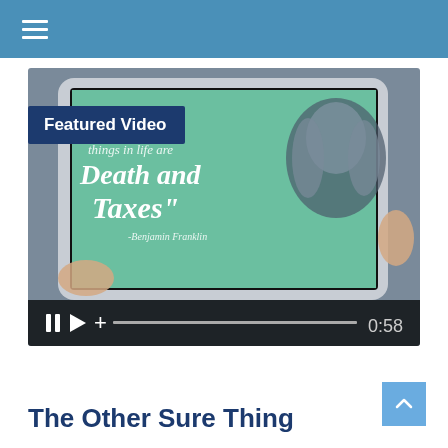[Figure (screenshot): Featured Video thumbnail: a tablet displaying a quote by Benjamin Franklin — 'The only sure things in life are Death and Taxes' — with a portrait of Benjamin Franklin on the green background. Video controls show pause, play, plus buttons, a progress bar, and timestamp 0:58.]
The Other Sure Thing